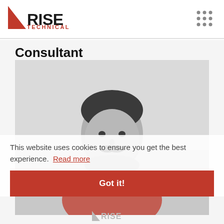[Figure (logo): RISE TECHNICAL logo with red triangle and dot-grid icon on the right]
Consultant
[Figure (photo): Grayscale photo of a man with a mustache, facing the camera, wearing a red shirt]
This website uses cookies to ensure you get the best experience. Read more
Got it!